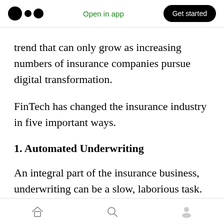Open in app | Get started
trend that can only grow as increasing numbers of insurance companies pursue digital transformation.
FinTech has changed the insurance industry in five important ways.
1. Automated Underwriting
An integral part of the insurance business, underwriting can be a slow, laborious task. AI has the potential to automate much of this process, minimizing inefficiencies and
Home | Search | Profile